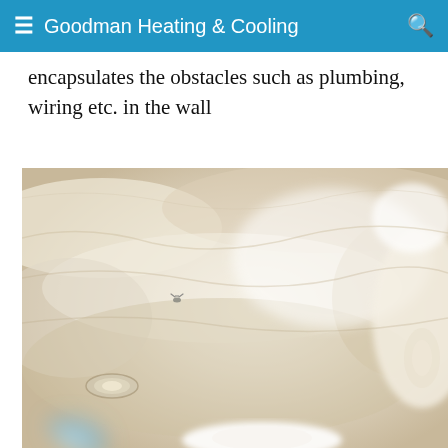Goodman Heating & Cooling
encapsulates the obstacles such as plumbing, wiring etc. in the wall
[Figure (photo): Interior photo looking up at a ceiling covered in spray foam insulation, with visible light fixtures and a screw or fastener in the foam. Bright light sources illuminate the textured white/cream foam surface.]